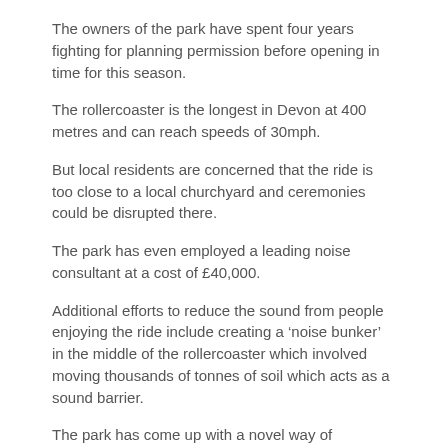The owners of the park have spent four years fighting for planning permission before opening in time for this season.
The rollercoaster is the longest in Devon at 400 metres and can reach speeds of 30mph.
But local residents are concerned that the ride is too close to a local churchyard and ceremonies could be disrupted there.
The park has even employed a leading noise consultant at a cost of £40,000.
Additional efforts to reduce the sound from people enjoying the ride include creating a 'noise bunker' in the middle of the rollercoaster which involved moving thousands of tonnes of soil which acts as a sound barrier.
The park has come up with a novel way of attracting people to the rollercoaster and making sure they stay quiet too. It's asking: 'are you brave enough to ride the Big One and not scream?'.
Last updated Thu 31 Mar 2016